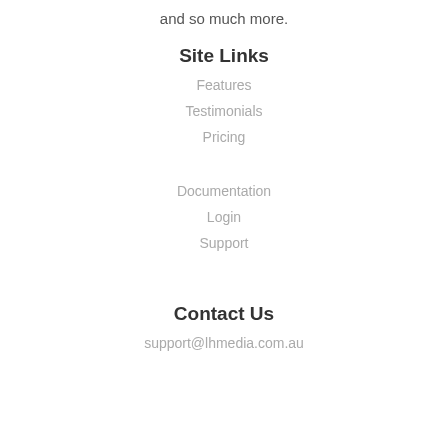and so much more.
Site Links
Features
Testimonials
Pricing
Documentation
Login
Support
Contact Us
support@lhmedia.com.au